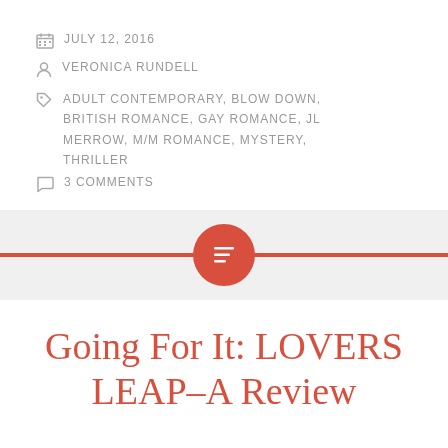JULY 12, 2016
VERONICA RUNDELL
ADULT CONTEMPORARY, BLOW DOWN, BRITISH ROMANCE, GAY ROMANCE, JL MERROW, M/M ROMANCE, MYSTERY, THRILLER
3 COMMENTS
[Figure (illustration): Red horizontal divider bar with a circular red icon containing a menu/list symbol in white, centered on a light gray background strip]
Going For It: LOVERS LEAP–A Review